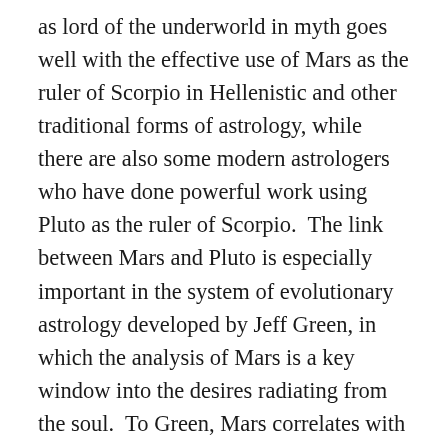as lord of the underworld in myth goes well with the effective use of Mars as the ruler of Scorpio in Hellenistic and other traditional forms of astrology, while there are also some modern astrologers who have done powerful work using Pluto as the ruler of Scorpio.  The link between Mars and Pluto is especially important in the system of evolutionary astrology developed by Jeff Green, in which the analysis of Mars is a key window into the desires radiating from the soul.  To Green, Mars correlates with our instinctual hunger to act on the desires coming from our soul and so the Mars archetype can help us become aware of our continuous state of becoming through activity.  Mars has a thirst for freedom and an aversion to restriction of any